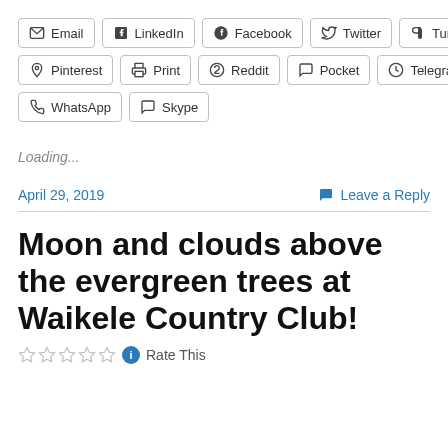[Figure (other): Social sharing buttons row 1: Email, LinkedIn, Facebook, Twitter, Tumblr]
[Figure (other): Social sharing buttons row 2: Pinterest, Print, Reddit, Pocket, Telegram]
[Figure (other): Social sharing buttons row 3: WhatsApp, Skype]
Loading...
April 29, 2019
Leave a Reply
Moon and clouds above the evergreen trees at Waikele Country Club!
Rate This